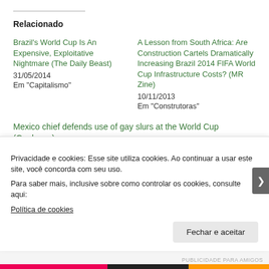Relacionado
Brazil's World Cup Is An Expensive, Exploitative Nightmare (The Daily Beast)
31/05/2014
Em "Capitalismo"
A Lesson from South Africa: Are Construction Cartels Dramatically Increasing Brazil 2014 FIFA World Cup Infrastructure Costs? (MR Zine)
10/11/2013
Em "Construtoras"
Mexico chief defends use of gay slurs at the World Cup (Goal.com)
Privacidade e cookies: Esse site utiliza cookies. Ao continuar a usar este site, você concorda com seu uso.
Para saber mais, inclusive sobre como controlar os cookies, consulte aqui:
Política de cookies
Fechar e aceitar